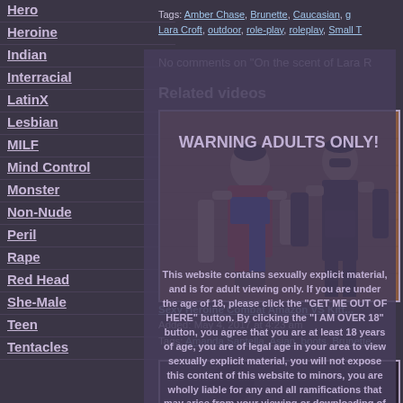Hero
Heroine
Indian
Interracial
LatinX
Lesbian
MILF
Mind Control
Monster
Non-Nude
Peril
Rape
Red Head
She-Male
Teen
Tentacles
Tags: Amber Chase, Brunette, Caucasian, Lara Croft, outdoor, role-play, roleplay, Small T
No comments on "On the scent of Lara R
Related videos
[Figure (photo): Video thumbnail showing two costumed female figures in a combat pose against a brown/red brick wall background]
Sexy Heroine Combat Amazon VS Kitt...
Added: May 4, 2017 at 4:23 am
Tags: Amanda Santella, Asian, boots, Brunette,
[Figure (photo): Second video thumbnail showing dark figures]